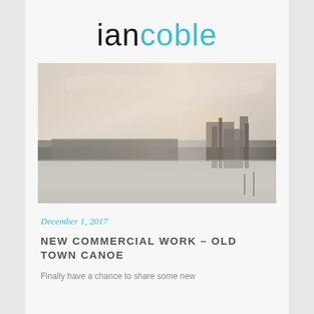iancoble
[Figure (photo): Panoramic waterfront photograph at dusk showing a waterway in the foreground, a city skyline with industrial structures and cranes in the middle ground, and a soft pastel sky with clouds in the background. Two figures appear to be on the water at the lower right.]
December 1, 2017
NEW COMMERCIAL WORK – OLD TOWN CANOE
Finally have a chance to share some new